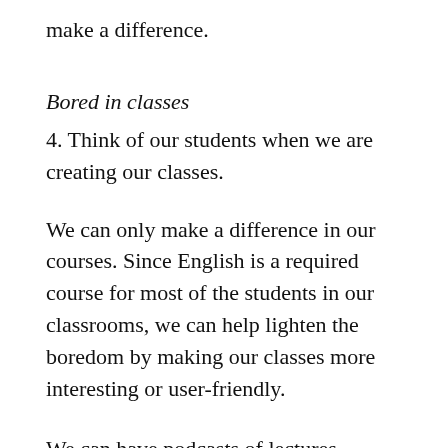make a difference.
Bored in classes
4. Think of our students when we are creating our classes.
We can only make a difference in our courses. Since English is a required course for most of the students in our classrooms, we can help lighten the boredom by making our classes more interesting or user-friendly.
We can have podcasts of lectures available for the students to download. We can have worksheets or review sheets online. We can make sure we step outside the box and give our